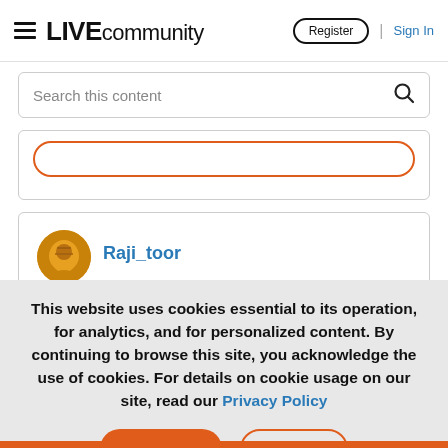LIVE community | Register | Sign In
Search this content
Raji_toor
This website uses cookies essential to its operation, for analytics, and for personalized content. By continuing to browse this site, you acknowledge the use of cookies. For details on cookie usage on our site, read our Privacy Policy
Accept  Reject